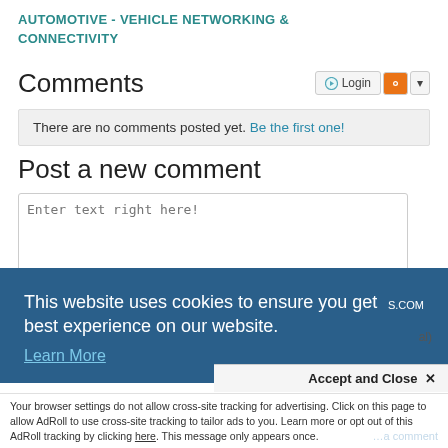AUTOMOTIVE - VEHICLE NETWORKING & CONNECTIVITY
Comments
There are no comments posted yet. Be the first one!
Post a new comment
Enter text right here!
This website uses cookies to ensure you get the best experience on our website.
Learn More
Accept and Close ✕
Your browser settings do not allow cross-site tracking for advertising. Click on this page to allow AdRoll to use cross-site tracking to tailor ads to you. Learn more or opt out of this AdRoll tracking by clicking here. This message only appears once.